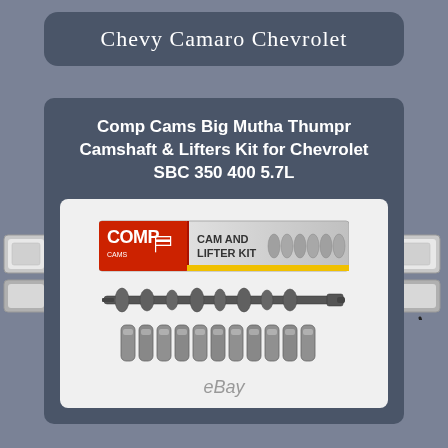Chevy Camaro Chevrolet
Comp Cams Big Mutha Thumpr Camshaft & Lifters Kit for Chevrolet SBC 350 400 5.7L
[Figure (photo): Product photo of Comp Cams Cam and Lifter Kit showing box packaging, a camshaft, and multiple lifters]
eBay